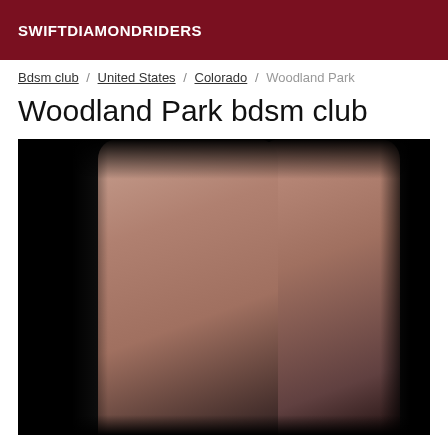SWIFTDIAMONDRIDERS
Bdsm club / United States / Colorado / Woodland Park
Woodland Park bdsm club
[Figure (photo): Studio photo of two people in black lingerie against a dark background, one person with bound wrists holding straps]